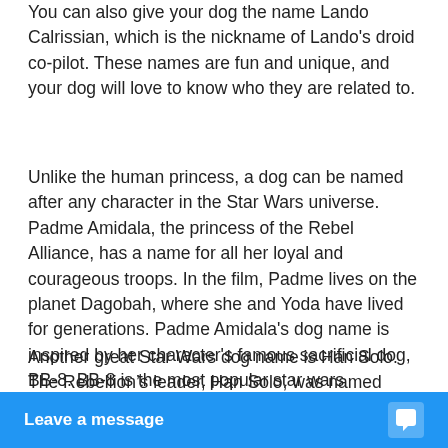You can also give your dog the name Lando Calrissian, which is the nickname of Lando's droid co-pilot. These names are fun and unique, and your dog will love to know who they are related to.
Unlike the human princess, a dog can be named after any character in the Star Wars universe. Padme Amidala, the princess of the Rebel Alliance, has a name for all her loyal and courageous troops. In the film, Padme lives on the planet Dagobah, where she and Yoda have lived for generations. Padme Amidala's dog name is inspired by her character's famous sacrificial dog, BB-8. BB-8 is the most popular star wars character ever, and it's easy to see why.
Another great Star Wars dog name is Han Solo. The Rebellion's leader, Han Solo, was named after the legendary entrepreneur. The character is both… powerful collecto…
Leave a message